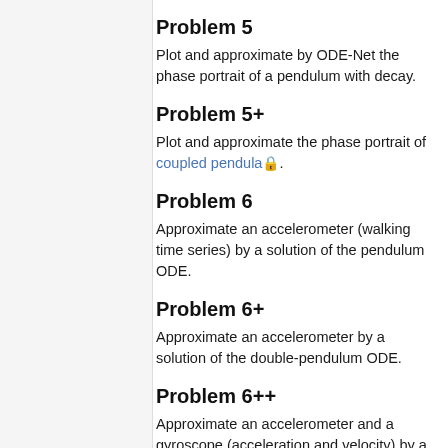Problem 5
Plot and approximate by ODE-Net the phase portrait of a pendulum with decay.
Problem 5+
Plot and approximate the phase portrait of coupled pendula 🔒.
Problem 6
Approximate an accelerometer (walking time series) by a solution of the pendulum ODE.
Problem 6+
Approximate an accelerometer by a solution of the double-pendulum ODE.
Problem 6++
Approximate an accelerometer and a gyroscope (acceleration and velocity) by a solution of the pendulum ODE.
Problem 7